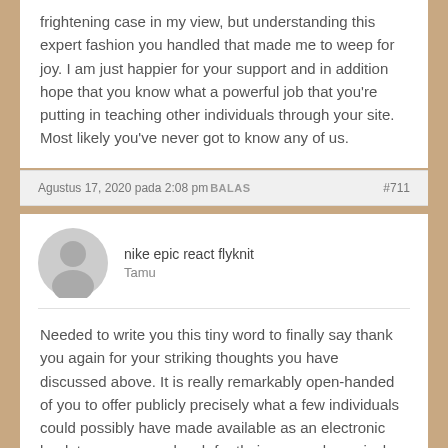frightening case in my view, but understanding this expert fashion you handled that made me to weep for joy. I am just happier for your support and in addition hope that you know what a powerful job that you're putting in teaching other individuals through your site. Most likely you've never got to know any of us.
Agustus 17, 2020 pada 2:08 pmBALAS #711
nike epic react flyknit
Tamu
Needed to write you this tiny word to finally say thank you again for your striking thoughts you have discussed above. It is really remarkably open-handed of you to offer publicly precisely what a few individuals could possibly have made available as an electronic book to earn some dough for their own end, precisely considering that you could have tried it if